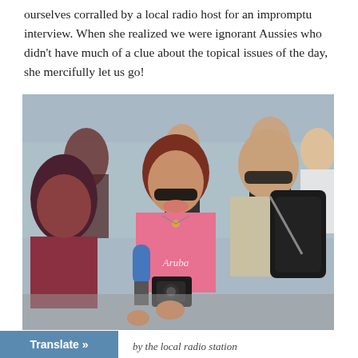ourselves corralled by a local radio host for an impromptu interview. When she realized we were ignorant Aussies who didn't have much of a clue about the topical issues of the day, she mercifully let us go!
[Figure (photo): A group of tourists being interviewed outdoors near water. A woman in a pink 'Aruba' t-shirt and sunglasses holds a camera and a blue microphone, speaking with another person wearing a backpack and sunglasses. Other people are visible in the background.]
by the local radio station